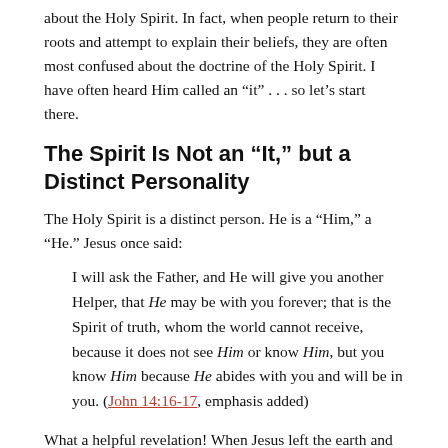about the Holy Spirit. In fact, when people return to their roots and attempt to explain their beliefs, they are often most confused about the doctrine of the Holy Spirit. I have often heard Him called an “it” . . . so let’s start there.
The Spirit Is Not an “It,” but a Distinct Personality
The Holy Spirit is a distinct person. He is a “Him,” a “He.” Jesus once said:
I will ask the Father, and He will give you another Helper, that He may be with you forever; that is the Spirit of truth, whom the world cannot receive, because it does not see Him or know Him, but you know Him because He abides with you and will be in you. (John 14:16-17, emphasis added)
What a helpful revelation! When Jesus left the earth and sent another Helper (“another of the same kind,” interestingly), like Himself, the Helper came and became a part of their lives